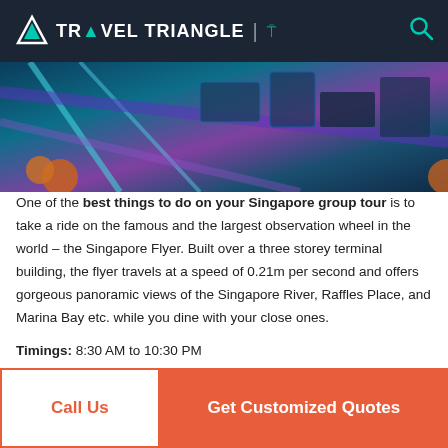TRAVEL TRIANGLE
[Figure (photo): Aerial/overhead view of Singapore city lights and infrastructure at night, with purple and teal tones]
One of the best things to do on your Singapore group tour is to take a ride on the famous and the largest observation wheel in the world – the Singapore Flyer. Built over a three storey terminal building, the flyer travels at a speed of 0.21m per second and offers gorgeous panoramic views of the Singapore River, Raffles Place, and Marina Bay etc. while you dine with your close ones.
Timings: 8:30 AM to 10:30 PM
Duration: 30 minutes
Cost: The ticket costs around $33 or INR 1,520 for adults and $21 or INR 970 for kids.